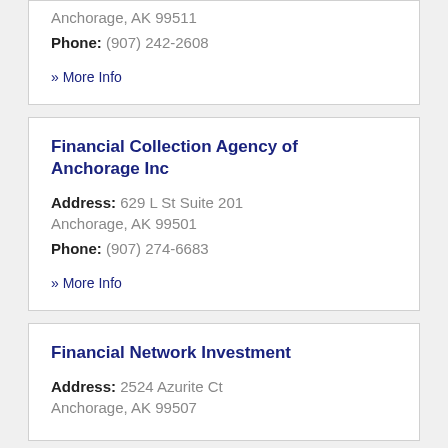Anchorage, AK 99511
Phone: (907) 242-2608
» More Info
Financial Collection Agency of Anchorage Inc
Address: 629 L St Suite 201
Anchorage, AK 99501
Phone: (907) 274-6683
» More Info
Financial Network Investment
Address: 2524 Azurite Ct
Anchorage, AK 99507